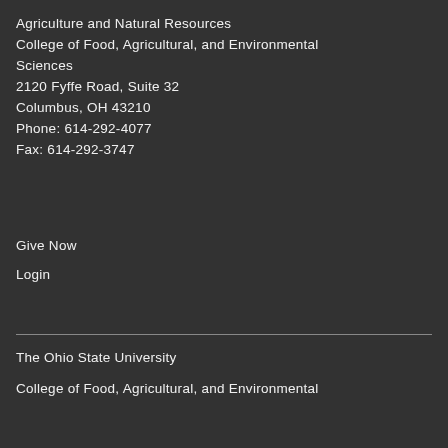Agriculture and Natural Resources
College of Food, Agricultural, and Environmental Sciences
2120 Fyffe Road, Suite 32
Columbus, OH 43210
Phone: 614-292-4077
Fax: 614-292-3747
Give Now
Login
The Ohio State University
College of Food, Agricultural, and Environmental